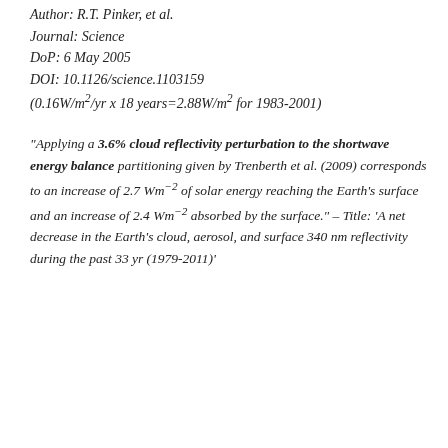Author: R.T. Pinker, et al.
Journal: Science
DoP: 6 May 2005
DOI: 10.1126/science.1103159
(0.16W/m²/yr x 18 years=2.88W/m² for 1983-2001)
“Applying a 3.6% cloud reflectivity perturbation to the shortwave energy balance partitioning given by Trenberth et al. (2009) corresponds to an increase of 2.7 Wm⁻² of solar energy reaching the Earth’s surface and an increase of 2.4 Wm⁻² absorbed by the surface.” – Title: ‘A net decrease in the Earth’s cloud, aerosol, and surface 340 nm reflectivity during the past 33 yr (1979-2011)’